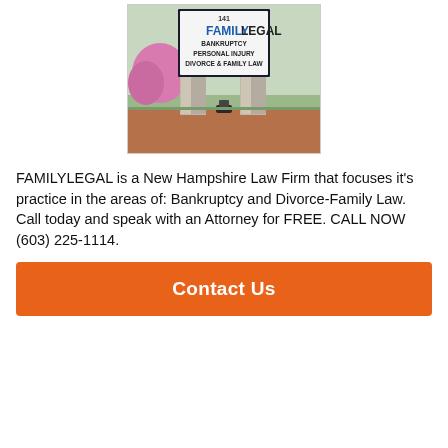[Figure (photo): Outdoor photo of a law firm sign reading '141 FAMILYLEGAL BANKRUPTCY PERSONAL INJURY DIVORCE & FAMILY LAW', with two stone pillars, pink flowering bushes, and a landscape light in front.]
FAMILYLEGAL is a New Hampshire Law Firm that focuses it's practice in the areas of: Bankruptcy and Divorce-Family Law. Call today and speak with an Attorney for FREE. CALL NOW (603) 225-1114.
Contact Us